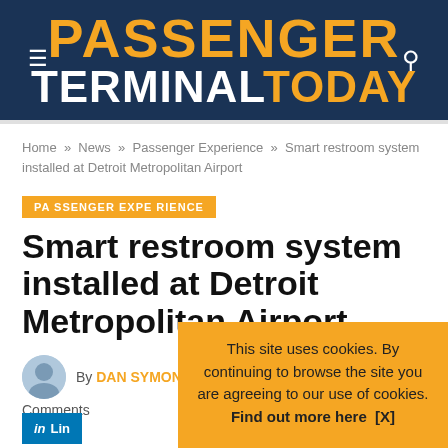PASSENGER TERMINAL TODAY
Home » News » Passenger Experience » Smart restroom system installed at Detroit Metropolitan Airport
PASSENGER EXPERIENCE
Smart restroom system installed at Detroit Metropolitan Airport
By DAN SYMONDS — November 15, 2018  No Comments
This site uses cookies. By continuing to browse the site you are agreeing to our use of cookies. Find out more here [X]